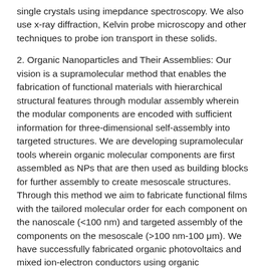single crystals using imepdance spectroscopy. We also use x-ray diffraction, Kelvin probe microscopy and other techniques to probe ion transport in these solids.
2. Organic Nanoparticles and Their Assemblies: Our vision is a supramolecular method that enables the fabrication of functional materials with hierarchical structural features through modular assembly wherein the modular components are encoded with sufficient information for three-dimensional self-assembly into targeted structures. We are developing supramolecular tools wherein organic molecular components are first assembled as NPs that are then used as building blocks for further assembly to create mesoscale structures. Through this method we aim to fabricate functional films with the tailored molecular order for each component on the nanoscale (<100 nm) and targeted assembly of the components on the mesoscale (>100 nm-100 μm). We have successfully fabricated organic photovoltaics and mixed ion-electron conductors using organic nanoparticles dispersed in water.